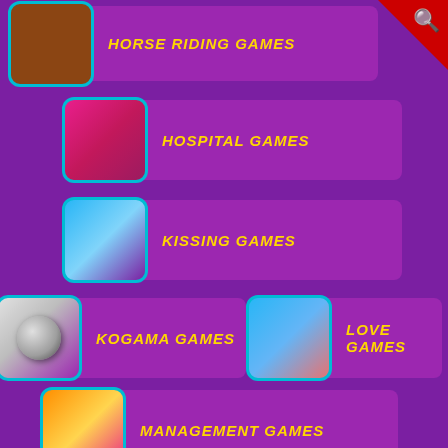[Figure (screenshot): Search icon in red triangle corner]
HORSE RIDING GAMES
HOSPITAL GAMES
KISSING GAMES
KOGAMA GAMES
LOVE GAMES
MANAGEMENT GAMES
MAKEOVER GAMES